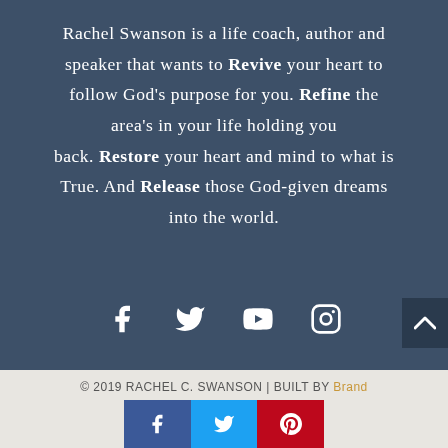Rachel Swanson is a life coach, author and speaker that wants to Revive your heart to follow God's purpose for you. Refine the area's in your life holding you back. Restore your heart and mind to what is True. And Release those God-given dreams into the world.
[Figure (other): Social media icons: Facebook, Twitter, YouTube, Instagram in white on dark blue background]
© 2019 RACHEL C. SWANSON | Built by Brand
[Figure (other): Social share buttons bar: Facebook (blue), Twitter (light blue), Pinterest (red)]